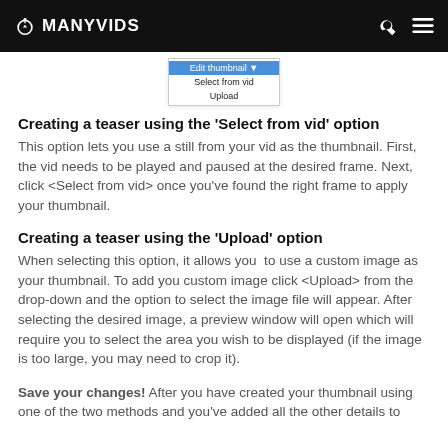MANYVIDS
[Figure (screenshot): Dropdown menu showing 'Edit thumbnail' header with options 'Select from vid' and 'Upload']
Creating a teaser using the 'Select from vid' option
This option lets you use a still from your vid as the thumbnail. First, the vid needs to be played and paused at the desired frame. Next, click <Select from vid> once you've found the right frame to apply your thumbnail.
Creating a teaser using the 'Upload' option
When selecting this option, it allows you  to use a custom image as your thumbnail. To add you custom image click <Upload> from the drop-down and the option to select the image file will appear. After selecting the desired image, a preview window will open which will require you to select the area you wish to be displayed (if the image is too large, you may need to crop it).
Save your changes! After you have created your thumbnail using one of the two methods and you've added all the other details to